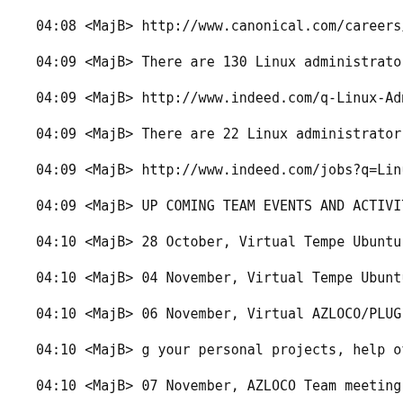04:08 <MajB> http://www.canonical.com/careers/all-va
04:09 <MajB> There are 130 Linux administrator jobs
04:09 <MajB> http://www.indeed.com/q-Linux-Administ
04:09 <MajB> There are 22 Linux administrator jobs i
04:09 <MajB> http://www.indeed.com/jobs?q=Linux+Adm
04:09 <MajB> UP COMING TEAM EVENTS AND ACTIVITIES:
04:10 <MajB> 28 October,  Virtual Tempe Ubuntu Hour
04:10 <MajB> 04 November,  Virtual Tempe Ubuntu Hou
04:10 <MajB> 06 November,  Virtual AZLOCO/PLUG Inst
04:10 <MajB> g your personal projects, help others w
04:10 <MajB> 07 November, AZLOCO Team meeting, 2100
04:10 <MajB> 11 November,  Sierra Vista Ubuntu Hou